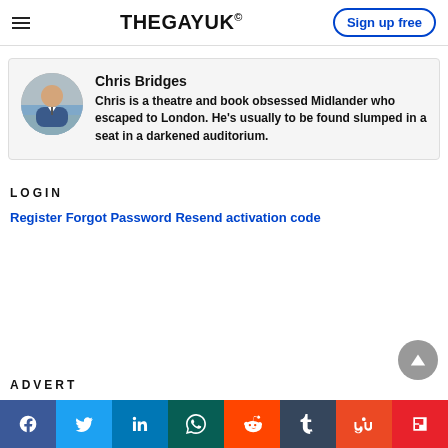THEGAYUK® Sign up free
Chris Bridges
Chris is a theatre and book obsessed Midlander who escaped to London. He's usually to be found slumped in a seat in a darkened auditorium.
LOGIN
Register Forgot Password Resend activation code
ADVERT